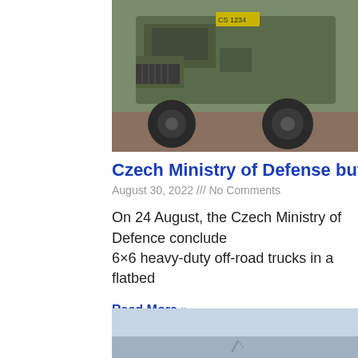[Figure (photo): Military truck (Tatra 815-7), olive/green colored heavy-duty off-road truck, partially cropped, showing wheels and cab area]
Czech Ministry of Defense buys Tatra 815-7 h
August 30, 2022 /// No Comments
On 24 August, the Czech Ministry of Defence conclude 6×6 heavy-duty off-road trucks in a flatbed
Read More »
[Figure (photo): Partially visible second article image, appears to show a sky/aircraft scene]